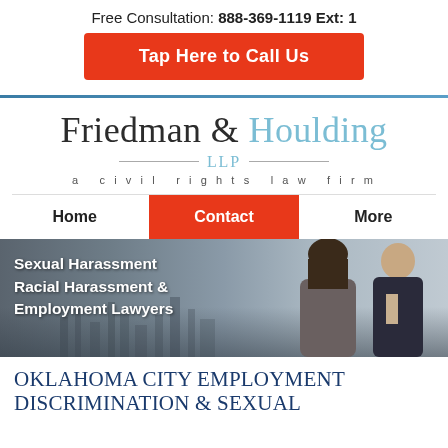Free Consultation: 888-369-1119 Ext: 1
Tap Here to Call Us
[Figure (logo): Friedman & Houlding LLP - a civil rights law firm logo]
Home | Contact | More
[Figure (photo): Two lawyers (a woman and a man) standing in front of a New York City skyline. Text overlay: Sexual Harassment Racial Harassment & Employment Lawyers]
OKLAHOMA CITY EMPLOYMENT DISCRIMINATION & SEXUAL